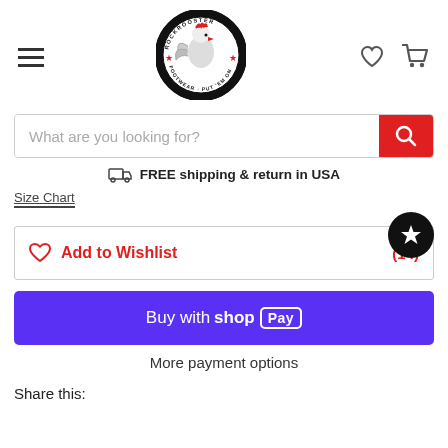[Figure (logo): RockRooster Footwear circular logo with rooster illustration]
[Figure (screenshot): Search bar with placeholder text 'What are you looking for?' and red search button]
FREE shipping & return in USA
Size Chart (underlined link)
Add to Wishlist  (14)
Buy with Shop Pay
More payment options
Share this: